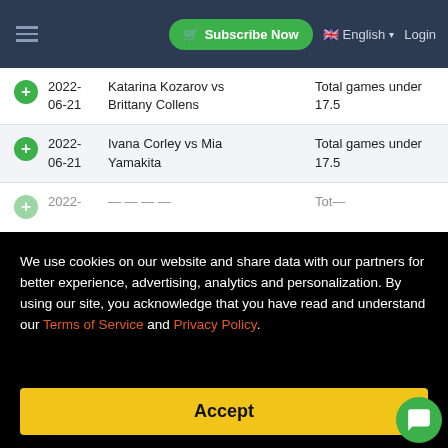Subscribe Now  English  Login
2022-06-21  Katarina Kozarov vs Brittany Collens  Total games under 17.5
2022-06-21  Ivana Corley vs Mia Yamakita  Total games under 17.5
We use cookies on our website and share data with our partners for better experience, advertising, analytics and personalization. By using our site, you acknowledge that you have read and understand our Terms of Service and Privacy Policy.
Accept
06-22  Carolina Bohrer  win match